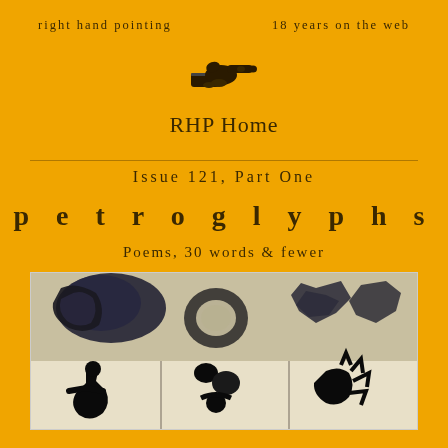right hand pointing    18 years on the web
[Figure (illustration): A black and white illustration of a hand pointing to the right (manicule/fist icon)]
RHP Home
Issue 121, Part One
petroglyphs
Poems, 30 words & fewer
[Figure (photo): A photograph of ancient petroglyphs or rock art showing abstract black symbols on a stone or clay surface arranged in a rectangular panel, with primitive hand and figure-like marks]